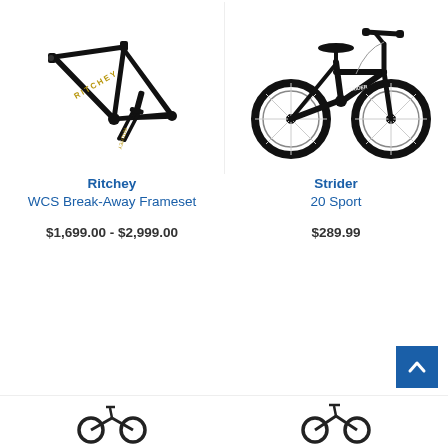[Figure (photo): Ritchey WCS Break-Away bicycle frameset in black with gold lettering, showing frame and fork separated]
[Figure (photo): Strider 20 Sport children's bicycle in black, full bike view]
Ritchey
WCS Break-Away Frameset
$1,699.00 - $2,999.00
Strider
20 Sport
$289.99
[Figure (photo): Partial thumbnail images of additional bikes at bottom of page]